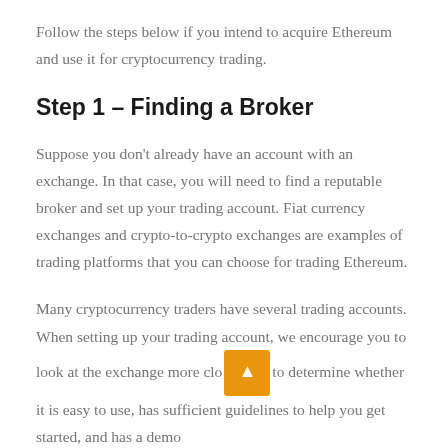Follow the steps below if you intend to acquire Ethereum and use it for cryptocurrency trading.
Step 1 – Finding a Broker
Suppose you don't already have an account with an exchange. In that case, you will need to find a reputable broker and set up your trading account. Fiat currency exchanges and crypto-to-crypto exchanges are examples of trading platforms that you can choose for trading Ethereum.
Many cryptocurrency traders have several trading accounts. When setting up your trading account, we encourage you to look at the exchange more closely to determine whether it is easy to use, has sufficient guidelines to help you get started, and has a demo...